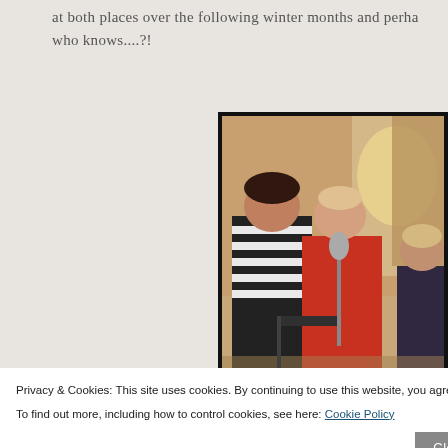at both places over the following winter months and perhaps who knows....?!
[Figure (photo): Three people performing music indoors. A person in a black and white striped outfit plays an instrument on the left. A woman in a red dress sings into a vintage microphone in the center. Another person sits on the right in a dark outfit. The room has warm, dim lighting with decorative furniture in the background.]
Privacy & Cookies: This site uses cookies. By continuing to use this website, you agree to their use.
To find out more, including how to control cookies, see here: Cookie Policy
Close and accept
not put anyone off. It was a fantastic weekend of music put